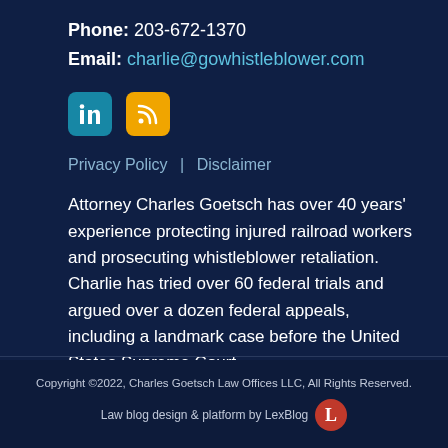Phone: 203-672-1370
Email: charlie@gowhistleblower.com
[Figure (logo): LinkedIn and RSS social media icons]
Privacy Policy | Disclaimer
Attorney Charles Goetsch has over 40 years' experience protecting injured railroad workers and prosecuting whistleblower retaliation. Charlie has tried over 60 federal trials and argued over a dozen federal appeals, including a landmark case before the United States Supreme Court.
Read More...
Copyright ©2022, Charles Goetsch Law Offices LLC, All Rights Reserved.
Law blog design & platform by LexBlog